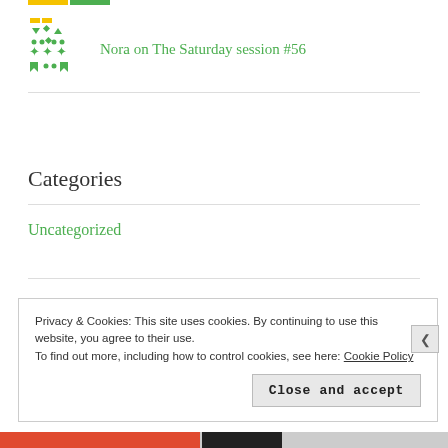[Figure (logo): Green geometric/decorative avatar icon made of dot and arrow shapes]
Nora on The Saturday session #56
Categories
Uncategorized
Privacy & Cookies: This site uses cookies. By continuing to use this website, you agree to their use. To find out more, including how to control cookies, see here: Cookie Policy
Close and accept